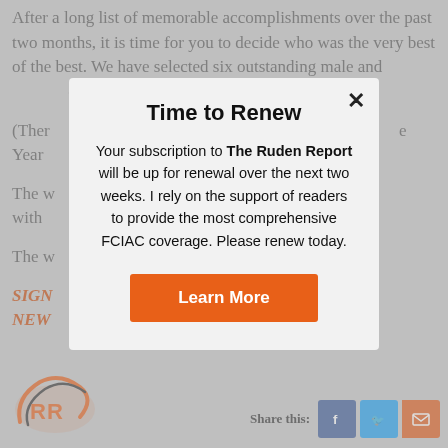After a long list of memorable accomplishments over the past two months, it is time for you to decide who was the very best of the best. We have selected six outstanding male and [female athletes] County Bank
(There [are...] Year [award])
The w[inner will receive a t-]shirt with [...]
The w[inner...]
SIGN[...]
NEW[...]
[Figure (logo): Ruden Report RR logo in orange]
Share this:
Time to Renew
Your subscription to The Ruden Report will be up for renewal over the next two weeks. I rely on the support of readers to provide the most comprehensive FCIAC coverage. Please renew today.
Learn More